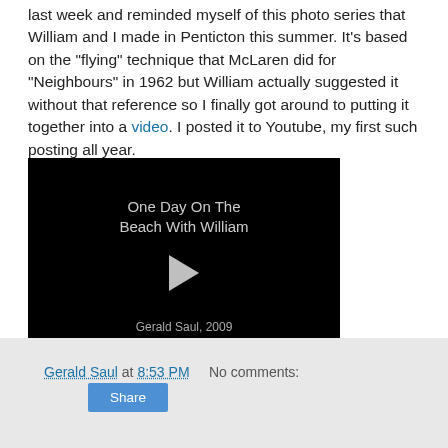last week and reminded myself of this photo series that William and I made in Penticton this summer. It's based on the "flying" technique that McLaren did for "Neighbours" in 1962 but William actually suggested it without that reference so I finally got around to putting it together into a video. I posted it to Youtube, my first such posting all year.
[Figure (screenshot): Video thumbnail with black background showing title 'One Day On The Beach With William', a play button triangle, and credit 'Gerald Saul, 2009']
Gerald Saul at 8:53 PM   No comments:
Share